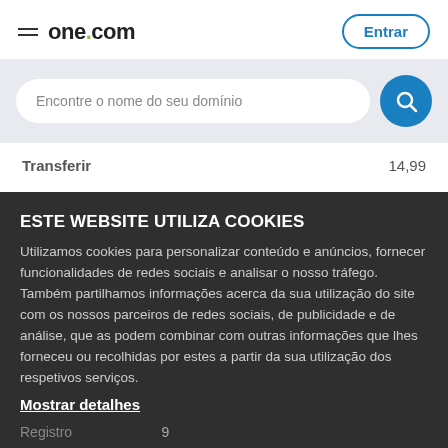one.com  Entrar
Encontre o nome do seu domínio
Transferir  14,99
ESTE WEBSITE UTILIZA COOKIES
Utilizamos cookies para personalizar conteúdo e anúncios, fornecer funcionalidades de redes sociais e analisar o nosso tráfego. Também partilhamos informações acerca da sua utilização do site com os nossos parceiros de redes sociais, de publicidade e de análise, que as podem combinar com outras informações que lhes forneceu ou recolhidas por estes a partir da sua utilização dos respetivos serviços.
Mostrar detalhes
Registro  9
Permitir todos
Personalizar